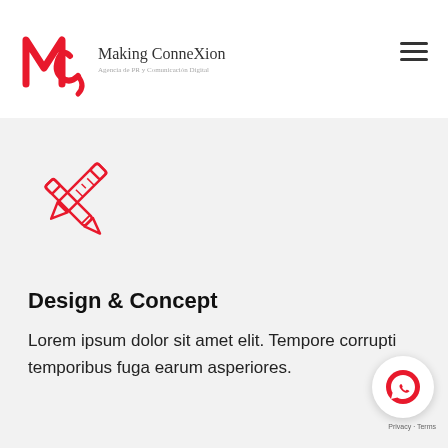[Figure (logo): Making ConneXion logo: red stylized 'Mc' letters on the left, with handwritten-style text 'Making ConneXion' and subtitle 'Agencia de PR y Comunicación Digital']
[Figure (illustration): Red outline icon of crossed pencil and ruler/eraser tools forming an X shape]
Design & Concept
Lorem ipsum dolor sit amet elit. Tempore corrupti temporibus fuga earum asperiores.